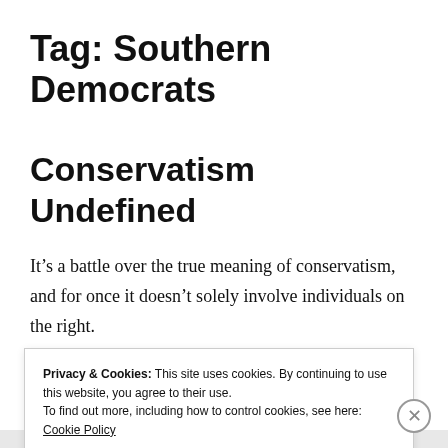Tag: Southern Democrats
Conservatism Undefined
It’s a battle over the true meaning of conservatism, and for once it doesn’t solely involve individuals on the right.
Privacy & Cookies: This site uses cookies. By continuing to use this website, you agree to their use.
To find out more, including how to control cookies, see here: Cookie Policy
Close and accept